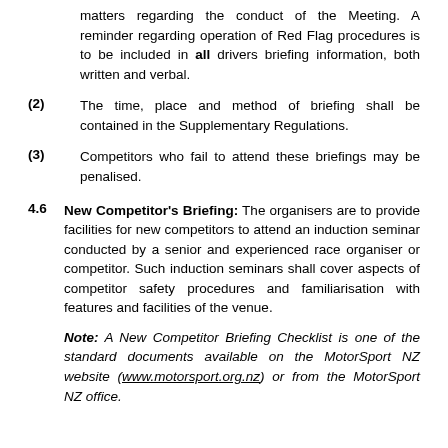matters regarding the conduct of the Meeting. A reminder regarding operation of Red Flag procedures is to be included in all drivers briefing information, both written and verbal.
(2) The time, place and method of briefing shall be contained in the Supplementary Regulations.
(3) Competitors who fail to attend these briefings may be penalised.
4.6 New Competitor's Briefing: The organisers are to provide facilities for new competitors to attend an induction seminar conducted by a senior and experienced race organiser or competitor. Such induction seminars shall cover aspects of competitor safety procedures and familiarisation with features and facilities of the venue.
Note: A New Competitor Briefing Checklist is one of the standard documents available on the MotorSport NZ website (www.motorsport.org.nz) or from the MotorSport NZ office.